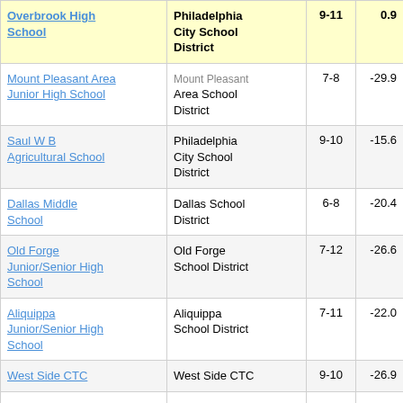| School | District | Grades | Value |
| --- | --- | --- | --- |
| Overbrook High School | Philadelphia City School District | 9-11 | 0.9 |
| Mount Pleasant Area Junior High School | Mount Pleasant Area School District | 7-8 | -29.9 |
| Saul W B Agricultural School | Philadelphia City School District | 9-10 | -15.6 |
| Dallas Middle School | Dallas School District | 6-8 | -20.4 |
| Old Forge Junior/Senior High School | Old Forge School District | 7-12 | -26.6 |
| Aliquippa Junior/Senior High School | Aliquippa School District | 7-11 | -22.0 |
| West Side CTC | West Side CTC | 9-10 | -26.9 |
| Norristown... | Norristown |  |  |